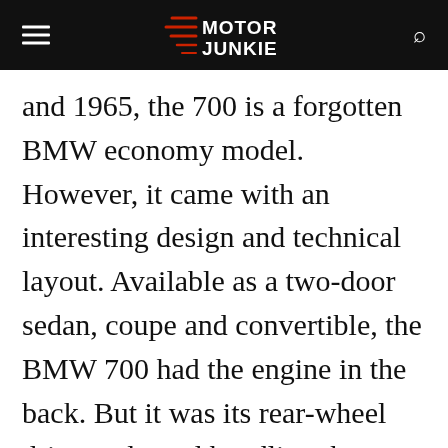Motor Junkie
and 1965, the 700 is a forgotten BMW economy model. However, it came with an interesting design and technical layout. Available as a two-door sedan, coupe and convertible, the BMW 700 had the engine in the back. But it was its rear-wheel drive and good handling that made it popular among amateur racers. BMW sold the 700 in
Advertisement
Ashburn OPEN 8AM–8PM 20035 Ashbrook Commons Plaza, Unit